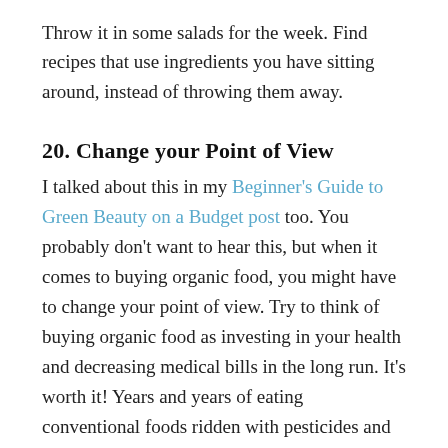Throw it in some salads for the week. Find recipes that use ingredients you have sitting around, instead of throwing them away.
20. Change your Point of View
I talked about this in my Beginner's Guide to Green Beauty on a Budget post too. You probably don't want to hear this, but when it comes to buying organic food, you might have to change your point of view. Try to think of buying organic food as investing in your health and decreasing medical bills in the long run. It's worth it! Years and years of eating conventional foods ridden with pesticides and GMOs will add up in your